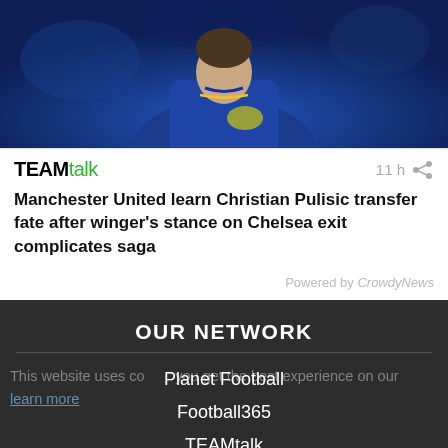[Figure (photo): A football player wearing a dark blue jersey with a yellow Nike swoosh logo, shown from approximately the chest up against a blurred stadium background.]
TEAMtalk  11 h
Manchester United learn Christian Pulisic transfer fate after winger's stance on Chelsea exit complicates saga
Powered by CrowdyNews
OUR NETWORK
This website uses cookies to ensure you get the best experience on our website. learn more
Planet Football
Football365
TEAMtalk
Planet Rugby
Got it!
Cricket365